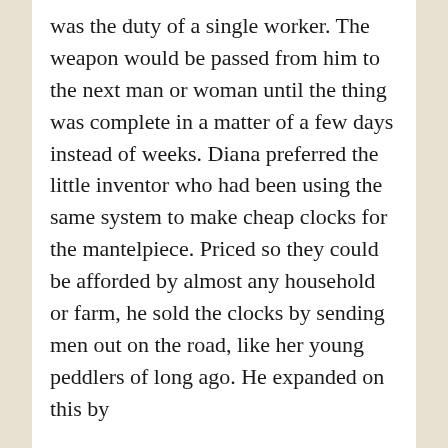was the duty of a single worker. The weapon would be passed from him to the next man or woman until the thing was complete in a matter of a few days instead of weeks. Diana preferred the little inventor who had been using the same system to make cheap clocks for the mantelpiece. Priced so they could be afforded by almost any household or farm, he sold the clocks by sending men out on the road, like her young peddlers of long ago. He expanded on this by